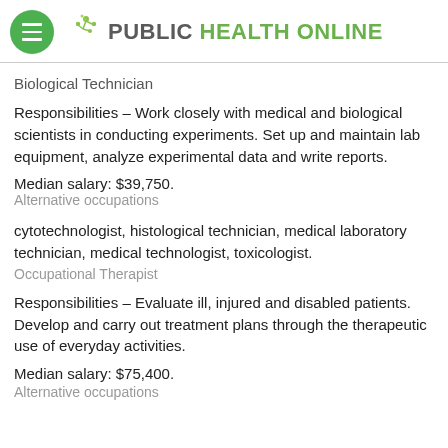PUBLIC HEALTH ONLINE
Biological Technician
Responsibilities – Work closely with medical and biological scientists in conducting experiments. Set up and maintain lab equipment, analyze experimental data and write reports.
Median salary: $39,750.
Alternative occupations
cytotechnologist, histological technician, medical laboratory technician, medical technologist, toxicologist.
Occupational Therapist
Responsibilities – Evaluate ill, injured and disabled patients. Develop and carry out treatment plans through the therapeutic use of everyday activities.
Median salary: $75,400.
Alternative occupations